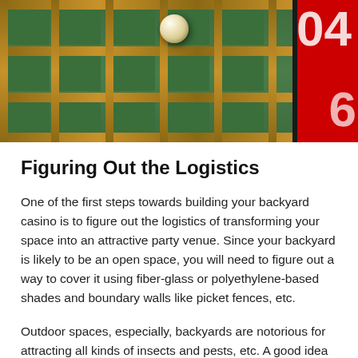[Figure (photo): Close-up photograph of a roulette wheel showing the green felt dividers with gold/wooden separators, a white ball resting in one of the compartments, and a red section with white numbers (04 and 6 visible) on the right side.]
Figuring Out the Logistics
One of the first steps towards building your backyard casino is to figure out the logistics of transforming your space into an attractive party venue. Since your backyard is likely to be an open space, you will need to figure out a way to cover it using fiber-glass or polyethylene-based shades and boundary walls like picket fences, etc.
Outdoor spaces, especially, backyards are notorious for attracting all kinds of insects and pests, etc. A good idea is to remove any standing water in your backyard to curb